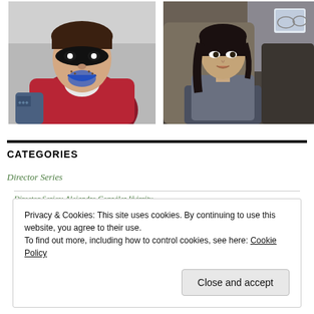[Figure (photo): Photo of a masked character with face paint, wearing a colorful glittery jacket, with a black eye mask and blue glowing chin piece]
[Figure (photo): Photo of a young woman sitting in the back seat of a car, looking to the side with a serious expression]
CATEGORIES
Director Series
Director Series: Alejandro González Iñárritu
Privacy & Cookies: This site uses cookies. By continuing to use this website, you agree to their use.
To find out more, including how to control cookies, see here: Cookie Policy
Close and accept